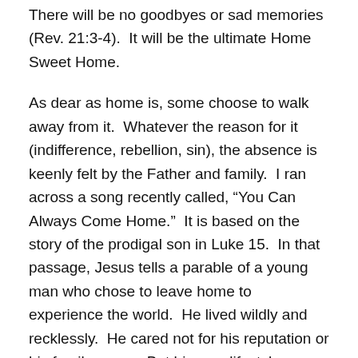There will be no goodbyes or sad memories (Rev. 21:3-4).  It will be the ultimate Home Sweet Home.
As dear as home is, some choose to walk away from it.  Whatever the reason for it (indifference, rebellion, sin), the absence is keenly felt by the Father and family.  I ran across a song recently called, “You Can Always Come Home.”  It is based on the story of the prodigal son in Luke 15.  In that passage, Jesus tells a parable of a young man who chose to leave home to experience the world.  He lived wildly and recklessly.  He cared not for his reputation or his family name.  But his new lifestyle brought no satisfaction.  The thrill was short-lived as he found himself broken and alone.  That’s when he thought of home and his wayward heart longed to return.  This passage never gets old for me.  My